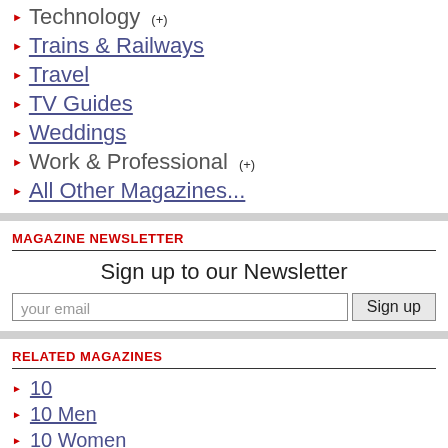Technology (+)
Trains & Railways
Travel
TV Guides
Weddings
Work & Professional (+)
All Other Magazines...
MAGAZINE NEWSLETTER
Sign up to our Newsletter
your email
RELATED MAGAZINES
10
10 Men
10 Women
212